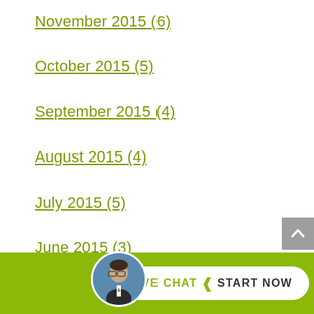November 2015 (6)
October 2015 (5)
September 2015 (4)
August 2015 (4)
July 2015 (5)
June 2015 (3)
May 2015 (4)
April 2015 (5)
March 2015 (4)
[Figure (screenshot): Live chat widget bar at the bottom with avatar photo of a man, 'LIVE CHAT > START NOW' button on green background]